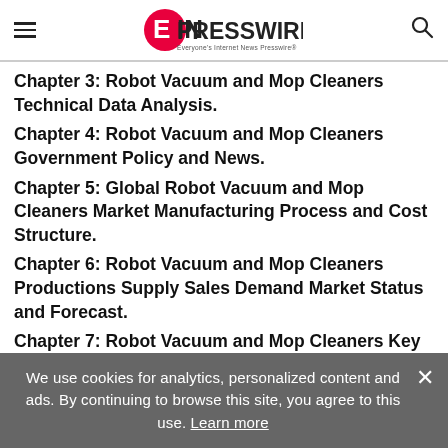EIN PRESSWIRE — Everyone's Internet News Presswire
Chapter 3: Robot Vacuum and Mop Cleaners Technical Data Analysis.
Chapter 4: Robot Vacuum and Mop Cleaners Government Policy and News.
Chapter 5: Global Robot Vacuum and Mop Cleaners Market Manufacturing Process and Cost Structure.
Chapter 6: Robot Vacuum and Mop Cleaners Productions Supply Sales Demand Market Status and Forecast.
Chapter 7: Robot Vacuum and Mop Cleaners Key
We use cookies for analytics, personalized content and ads. By continuing to browse this site, you agree to this use. Learn more